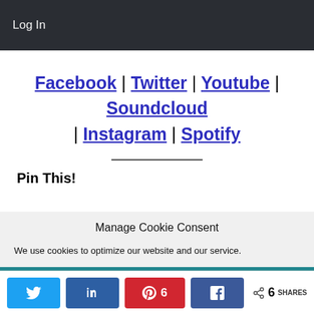Log In
Facebook | Twitter | Youtube | Soundcloud | Instagram | Spotify
Pin This!
We use cookies on our website to give you the most relevant experience by
Manage Cookie Consent
We use cookies to optimize our website and our service.
6 SHARES